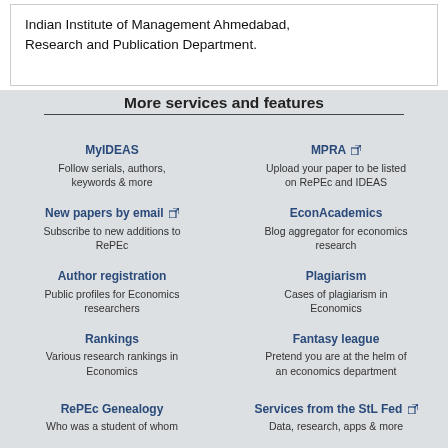Indian Institute of Management Ahmedabad, Research and Publication Department.
More services and features
MyIDEAS
Follow serials, authors, keywords & more
MPRA
Upload your paper to be listed on RePEc and IDEAS
New papers by email
Subscribe to new additions to RePEc
EconAcademics
Blog aggregator for economics research
Author registration
Public profiles for Economics researchers
Plagiarism
Cases of plagiarism in Economics
Rankings
Various research rankings in Economics
Fantasy league
Pretend you are at the helm of an economics department
RePEc Genealogy
Who was a student of whom
Services from the StL Fed
Data, research, apps & more